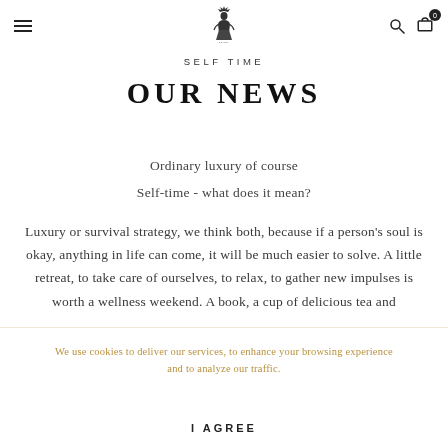Navigation bar with hamburger menu, logo, search and cart icons
SELF TIME
OUR NEWS
Ordinary luxury of course
Self-time - what does it mean?
Luxury or survival strategy, we think both, because if a person's soul is okay, anything in life can come, it will be much easier to solve. A little retreat, to take care of ourselves, to relax, to gather new impulses is worth a wellness weekend. A book, a cup of delicious tea and
We use cookies to deliver our services, to enhance your browsing experience and to analyze our traffic.
I AGREE